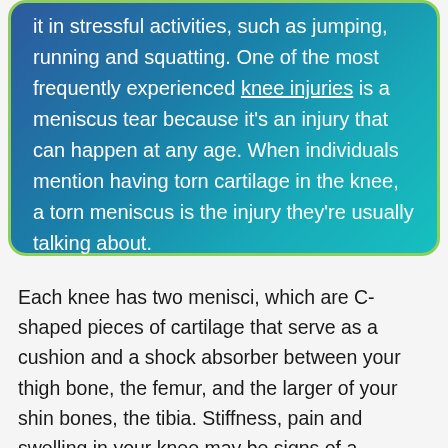it in stressful activities, such as jumping, running and squatting. One of the most frequently experienced knee injuries is a meniscus tear because it's an injury that can happen at any age. When individuals mention having torn cartilage in the knee, a torn meniscus is the injury they're usually talking about.
Each knee has two menisci, which are C-shaped pieces of cartilage that serve as a cushion and a shock absorber between your thigh bone, the femur, and the larger of your shin bones, the tibia. Stiffness, pain and swelling in your knee may be signs of a meniscus tear. If you think you may have a torn meniscus, see the